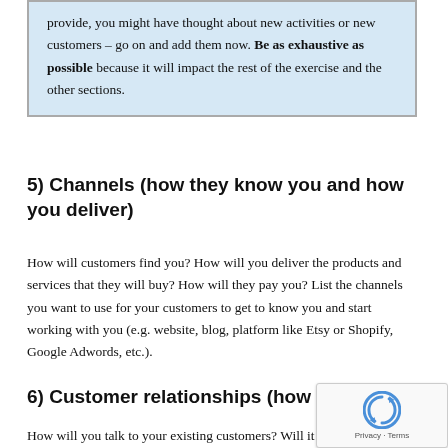provide, you might have thought about new activities or new customers – go on and add them now. Be as exhaustive as possible because it will impact the rest of the exercise and the other sections.
5) Channels (how they know you and how you deliver)
How will customers find you? How will you deliver the products and services that they will buy? How will they pay you? List the channels you want to use for your customers to get to know you and start working with you (e.g. website, blog, platform like Etsy or Shopify, Google Adwords, etc.).
6) Customer relationships (how you interact
How will you talk to your existing customers? Will it be by email,